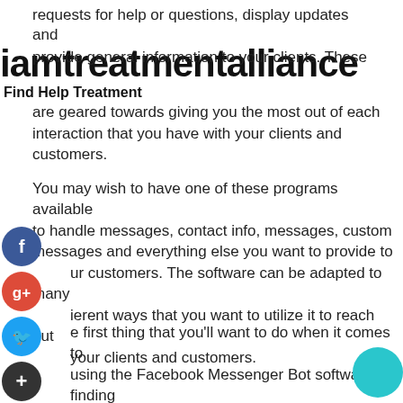requests for help or questions, display updates and provide general information to your clients. These are geared towards giving you the most out of each interaction that you have with your clients and customers.
iamtreatmentalliance
Find Help Treatment
You may wish to have one of these programs available to handle messages, contact info, messages, custom messages and everything else you want to provide to your customers. The software can be adapted to many different ways that you want to utilize it to reach out your clients and customers.
The first thing that you'll want to do when it comes to using the Facebook Messenger Bot software is finding the right version that fits your needs. You can find software that works great in your niche area, but not so great in other areas. The software is easy to get set and the setup is easy, but it takes some time and